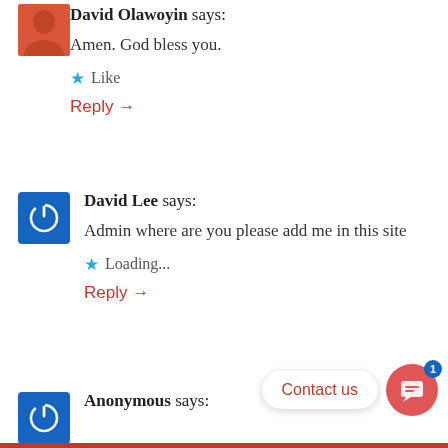David Olawoyin says:
Amen. God bless you.
Like
Reply →
David Lee says:
Admin where are you please add me in this site
Loading...
Reply →
Contact us
Anonymous says: